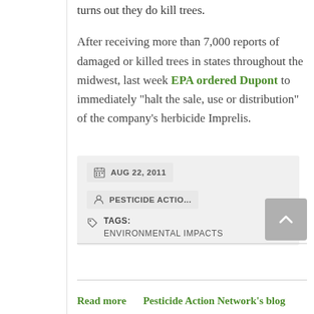turns out they do kill trees.
After receiving more than 7,000 reports of damaged or killed trees in states throughout the midwest, last week EPA ordered Dupont to immediately "halt the sale, use or distribution" of the company's herbicide Imprelis.
AUG 22, 2011   PESTICIDE ACTIO...   TAGS: ENVIRONMENTAL IMPACTS
Read more   Pesticide Action Network's blog